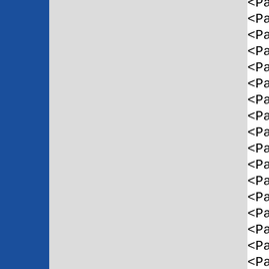<Party_Importance PartyID="Le
<Party_Position PartyID="Left" S
<Party_Importance PartyID="Rig
<Party_Position PartyID="Right"
<Party_Importance PartyID="Ind
<Party_Position PartyID="Indy" S
<Party_Importance PartyID="Lef
<Party_Position PartyID="Left" S
<Party_Importance PartyID="Rig
<Party_Position PartyID="Right"
<Party_Importance PartyID="Ind
<Party_Position PartyID="Indy" S
<Party_Importance PartyID="Lef
<Party_Position PartyID="Left" S
<Party_Importance PartyID="Rig
<Party_Position PartyID="Right"
<Party_Importance PartyID="Ind
<Party_Position PartyID="Indy" S
<Party_Importance PartyID="Lef